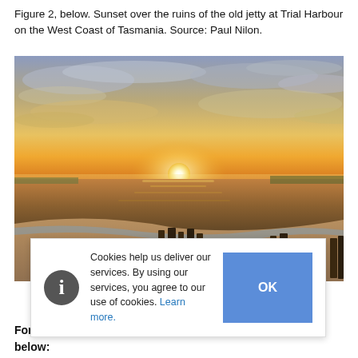Figure 2, below. Sunset over the ruins of the old jetty at Trial Harbour on the West Coast of Tasmania. Source: Paul Nilon.
[Figure (photo): A sunset photograph over the ruins of the old jetty at Trial Harbour on the West Coast of Tasmania. The sun is low on the horizon, casting golden and orange hues across the sky and reflecting on the calm ocean water. Ruined wooden jetty posts are visible in the foreground on a sandy beach. A cookie consent banner overlays the lower portion of the image.]
For December 2018 state outlooks, please follow the links below: